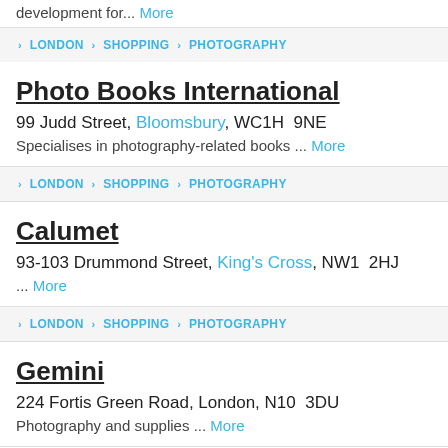development for... More
LONDON > SHOPPING > PHOTOGRAPHY
Photo Books International
99 Judd Street, Bloomsbury, WC1H 9NE
Specialises in photography-related books ... More
LONDON > SHOPPING > PHOTOGRAPHY
Calumet
93-103 Drummond Street, King's Cross, NW1 2HJ
... More
LONDON > SHOPPING > PHOTOGRAPHY
Gemini
224 Fortis Green Road, London, N10 3DU
Photography and supplies ... More